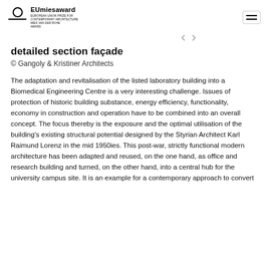EUmiesaward — EUROPEAN UNION PRIZE FOR CONTEMPORARY ARCHITECTURE / MIES VAN DER ROHE AWARD
detailed section façade
© Gangoly & Kristiner Architects
The adaptation and revitalisation of the listed laboratory building into a Biomedical Engineering Centre is a very interesting challenge. Issues of protection of historic building substance, energy efficiency, functionality, economy in construction and operation have to be combined into an overall concept. The focus thereby is the exposure and the optimal utilisation of the building's existing structural potential designed by the Styrian Architect Karl Raimund Lorenz in the mid 1950ies. This post-war, strictly functional modern architecture has been adapted and reused, on the one hand, as office and research building and turned, on the other hand, into a central hub for the university campus site. It is an example for a contemporary approach to convert post-war modern architecture into a new, addition it...